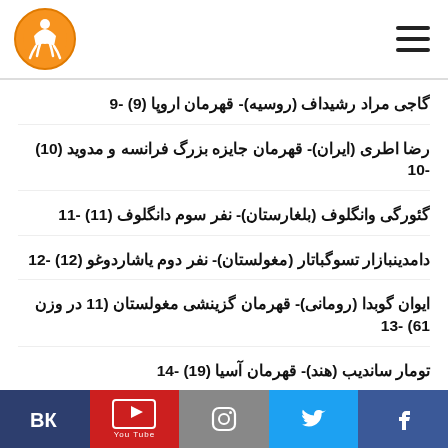Header with logo and menu icon
گاجی مراد رشیداف (روسیه)- قهرمان اروپا (9) -9
رضا اطری (ایران)- قهرمان جایزه بزرگ فرانسه و مدوید (10) -10
گئورگی وانگلوف (بلغارستان)- نفر سوم دانگلوف (11) -11
دامدینبازار تسوگباتار (مغولستان)- نفر دوم یاشاردوغو (12) -12
ایوان گوبدا (رومانی)- قهرمان گزینشی مغولستان (11 در وزن 61) -13
تومار ساندیب (هند)- قهرمان آسیا (19) -14
آندری یاتسنکو (اوکراین)- نفر دوم اروپا (13) -15
VK | YouTube | Instagram | Twitter | Facebook